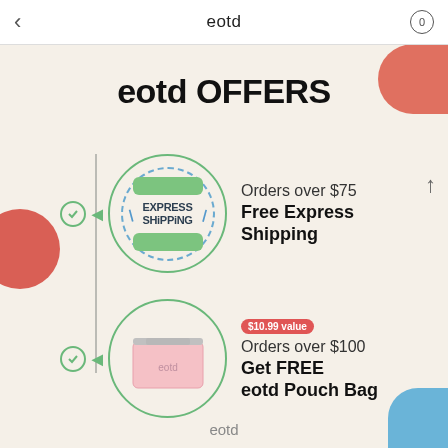eotd
eotd OFFERS
[Figure (illustration): Express shipping icon: green circle with dashed blue border, text 'EXPRESS SHIPPING' with lightning bolts]
Orders over $75
Free Express Shipping
[Figure (photo): eotd branded pink pouch bag inside green circle]
$10.99 value
Orders over $100
Get FREE eotd Pouch Bag
eotd